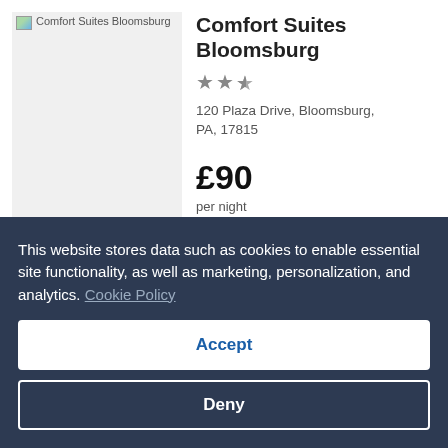[Figure (photo): Hotel image placeholder for Comfort Suites Bloomsburg]
Comfort Suites Bloomsburg
★★½
120 Plaza Drive, Bloomsburg, PA, 17815
£90 per night 11 Sep - 12 Sep
Show details ∨
This website stores data such as cookies to enable essential site functionality, as well as marketing, personalization, and analytics. Cookie Policy
Accept
Deny